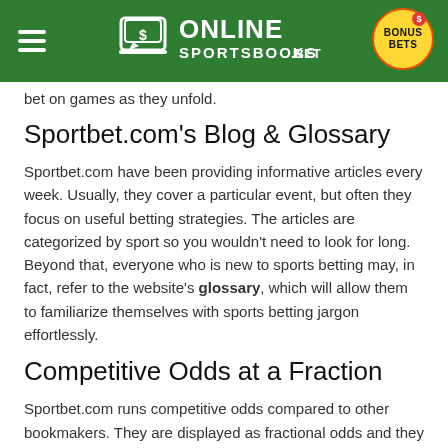Online Sportsbooks.bet — BONUS BETS
bet on games as they unfold.
Sportbet.com's Blog & Glossary
Sportbet.com have been providing informative articles every week. Usually, they cover a particular event, but often they focus on useful betting strategies. The articles are categorized by sport so you wouldn't need to look for long. Beyond that, everyone who is new to sports betting may, in fact, refer to the website's glossary, which will allow them to familiarize themselves with sports betting jargon effortlessly.
Competitive Odds at a Fraction
Sportbet.com runs competitive odds compared to other bookmakers. They are displayed as fractional odds and they are not too difficult to understand: